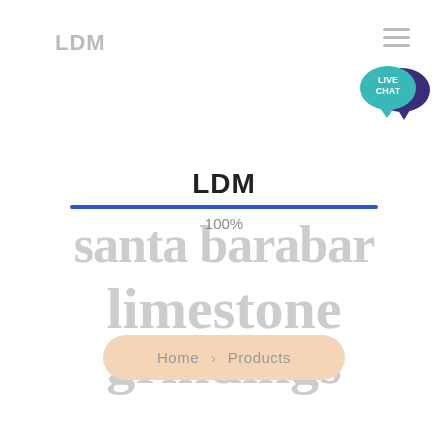LDM
LDM
santa barabar
100%
limestone
grindings
Home > Products